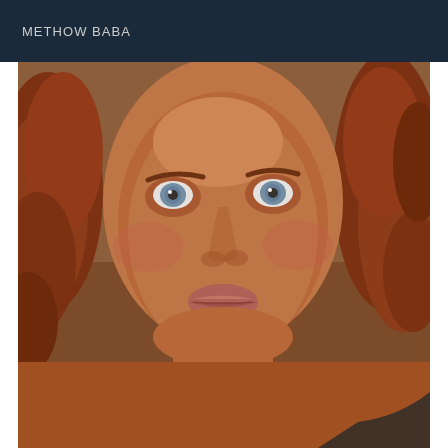METHOW BABA
[Figure (photo): Close-up selfie photo of a person with curly reddish-brown hair and blue/grey eyes, looking directly at the camera. The person appears to have tanned skin and is shirtless. The image is slightly blurry and taken from a low angle.]